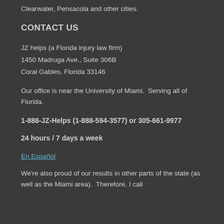Clearwater, Pensacola and other cities.
CONTACT US
JZ helps (a Florida injury law firm)
1450 Madruga Ave., Suite 306B
Coral Gables, Florida 33146
Our office is near the University of Miami.  Serving all of Florida.
1-888-JZ-Helps (1-888-594-3577) or 305-661-9977
24 hours / 7 days a week
En Español
We're also proud of our results in other parts of the state (as well as the Miami area).  Therefore, I call